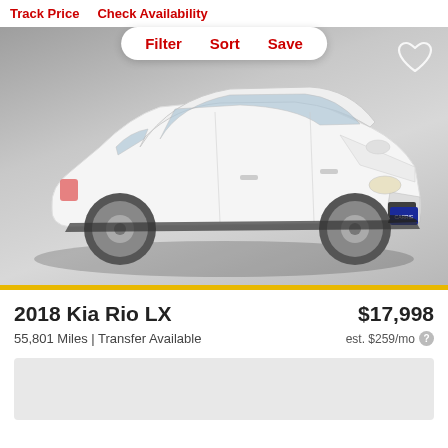Track Price   Check Availability
Filter   Sort   Save
[Figure (photo): White 2018 Kia Rio LX sedan photographed in a studio setting on a light gray floor, front three-quarter view facing right. A blue dealer plate is visible on the front bumper. A heart/favorite icon is shown in the top right corner of the image.]
2018 Kia Rio LX
$17,998
55,801 Miles | Transfer Available
est. $259/mo